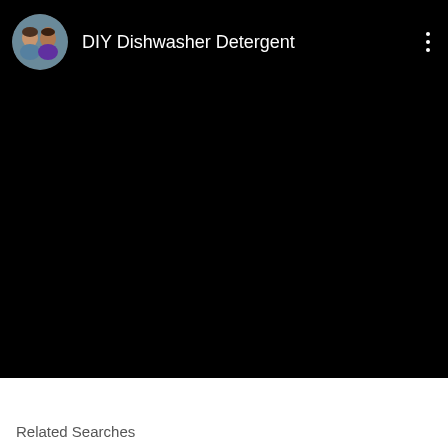[Figure (screenshot): A video player screenshot showing a black video frame with a header overlay. The header shows a circular profile photo of a couple (a woman and a man), the title 'DIY Dishwasher Detergent' in white text, and a three-dot menu icon in the top right corner.]
Related Searches